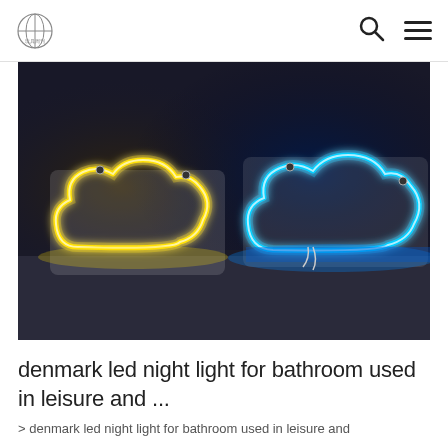Logo | Search | Menu
[Figure (photo): Two neon cloud-shaped LED lights on a dark surface — one glowing yellow on the left and one glowing blue/cyan on the right. The lights are cloud-shaped outlines with neon tube lighting.]
denmark led night light for bathroom used in leisure and ...
> denmark led night light for bathroom used in leisure and